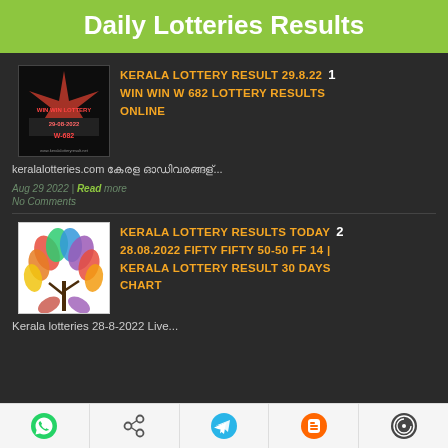Daily Lotteries Results
[Figure (screenshot): Win Win W-682 lottery thumbnail with red and black design, date 29-08-2022]
KERALA LOTTERY RESULT 29.8.22  1
WIN WIN W 682 LOTTERY RESULTS ONLINE
keralalotteries.com കേരള വിവരങ്ങള്...
Aug 29 2022 | Read more
No Comments
[Figure (illustration): Colorful tree illustration with rainbow-colored leaves on white background]
KERALA LOTTERY RESULTS TODAY  2
28.08.2022 FIFTY FIFTY 50-50 FF 14 | KERALA LOTTERY RESULT 30 DAYS CHART
Kerala lotteries 28-8-2022 Live...